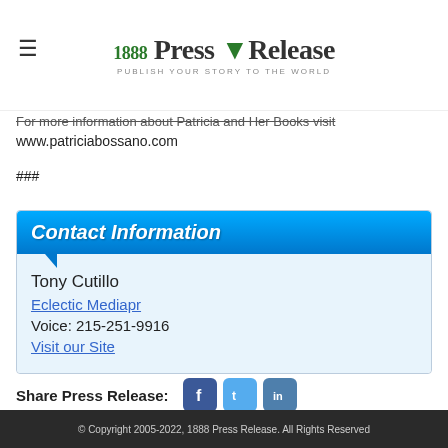[Figure (logo): 1888 Press Release logo with tagline PUBLISH YOUR STORY TO THE WORLD]
For more information about Patricia and Her Books visit www.patriciabossano.com
###
Contact Information
Tony Cutillo
Eclectic Mediapr
Voice: 215-251-9916
Visit our Site
Share Press Release:
© Copyright 2005-2022, 1888 Press Release. All Rights Reserved